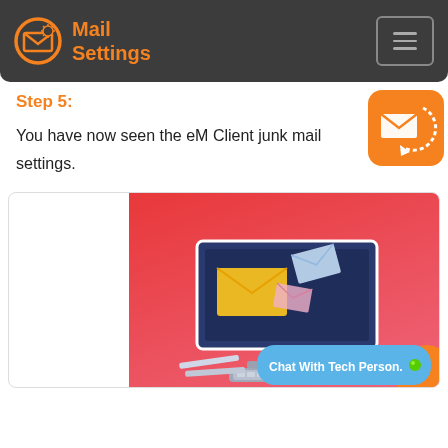Mail Settings
Step 5:
You have now seen the eM Client junk mail settings.
[Figure (illustration): Orange rounded square icon with a mail envelope and circular arrows/refresh symbol, indicating mail sync or update.]
[Figure (illustration): Isometric illustration of a computer monitor on a red-to-pink gradient background showing email envelopes flying out of the screen, with a keyboard and documents below. A blue chat bubble in the bottom right reads 'Chat With Tech Person.' with a green dot.]